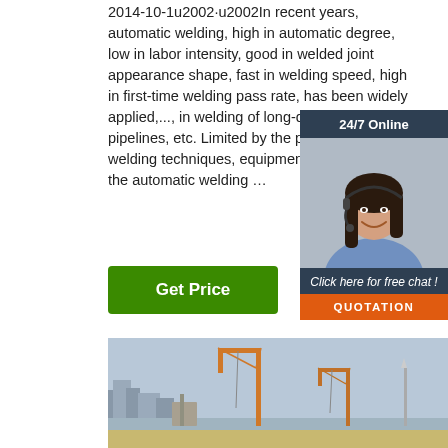2014-10-1u2002·u2002In recent years, automatic welding, high in automatic degree, low in labor intensity, good in welded joint appearance shape, fast in welding speed, high in first-time welding pass rate, has been widely applied,...,  in welding of long-distance oil/gas pipelines, etc. Limited by the pipeline routes, welding techniques, equipment volumes, etc., the automatic welding …
[Figure (other): 24/7 Online chat widget with a smiling female customer service representative wearing a headset. Contains '24/7 Online' header, 'Click here for free chat!' text, and an orange QUOTATION button.]
[Figure (photo): Construction site photo showing cranes against a grey sky with buildings and water in the background.]